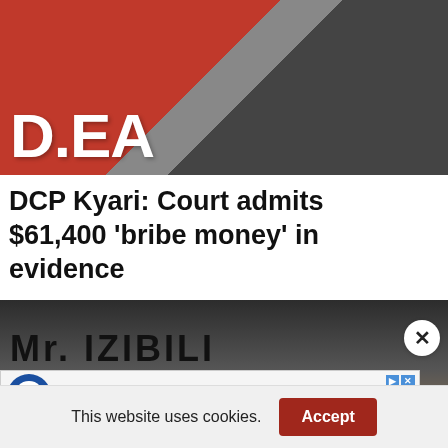[Figure (photo): Person wearing a red DEA jacket viewed from behind, standing near another person in a dark shirt, against a grey wall background]
DCP Kyari: Court admits $61,400 ‘bribe money’ in evidence
[Figure (photo): Close-up of a man with blonde/dyed hair looking at the camera, with green foliage and dark fence in background]
Q-NEX Hybrid Learning Solution
This website uses cookies.
Accept